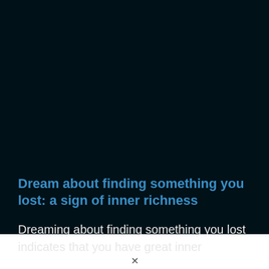Dream about finding something you lost: a sign of inner richness
Dreaming about finding something you lost indicates that you have great inner